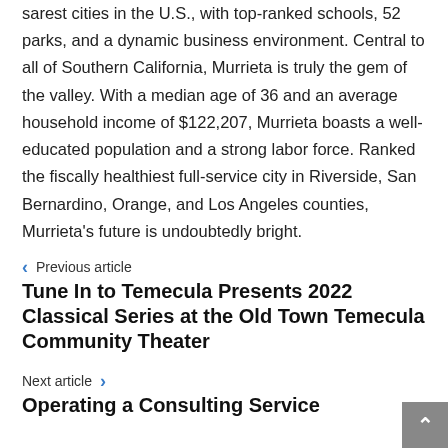sarest cities in the U.S., with top-ranked schools, 52 parks, and a dynamic business environment. Central to all of Southern California, Murrieta is truly the gem of the valley. With a median age of 36 and an average household income of $122,207, Murrieta boasts a well-educated population and a strong labor force. Ranked the fiscally healthiest full-service city in Riverside, San Bernardino, Orange, and Los Angeles counties, Murrieta's future is undoubtedly bright.
Previous article
Tune In to Temecula Presents 2022 Classical Series at the Old Town Temecula Community Theater
Next article
Operating a Consulting Service